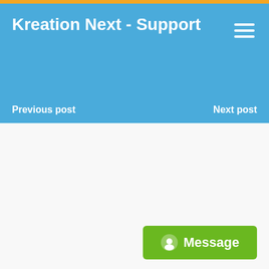Kreation Next - Support
Previous post
Next post
Message